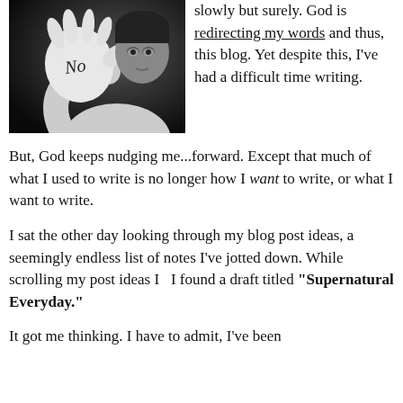[Figure (photo): Black and white photo of a woman holding up her palm toward the camera with the word 'No' written on it, her face visible in the background.]
slowly but surely. God is redirecting my words and thus, this blog. Yet despite this, I've had a difficult time writing.
But, God keeps nudging me...forward. Except that much of what I used to write is no longer how I want to write, or what I want to write.
I sat the other day looking through my blog post ideas, a seemingly endless list of notes I've jotted down. While scrolling my post ideas I  I found a draft titled "Supernatural Everyday."
It got me thinking. I have to admit, I've been